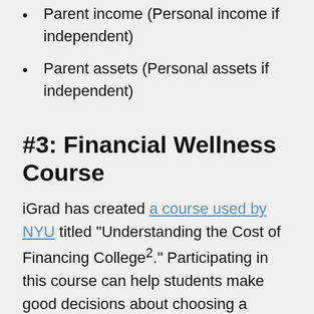Parent income (Personal income if independent)
Parent assets (Personal assets if independent)
#3: Financial Wellness Course
iGrad has created a course used by NYU titled “Understanding the Cost of Financing College².” Participating in this course can help students make good decisions about choosing a school and using financial aid.
Students learn: